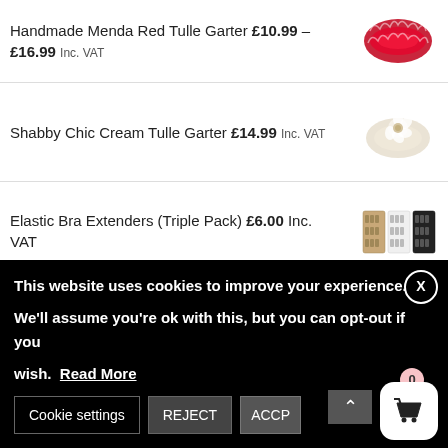Handmade Menda Red Tulle Garter £10.99 – £16.99 Inc. VAT
Shabby Chic Cream Tulle Garter £14.99 Inc. VAT
Elastic Bra Extenders (Triple Pack) £6.00 Inc. VAT
On-Sale Products
This website uses cookies to improve your experience. We'll assume you're ok with this, but you can opt-out if you wish. Read More
Cookie settings  REJECT  ACCEPT